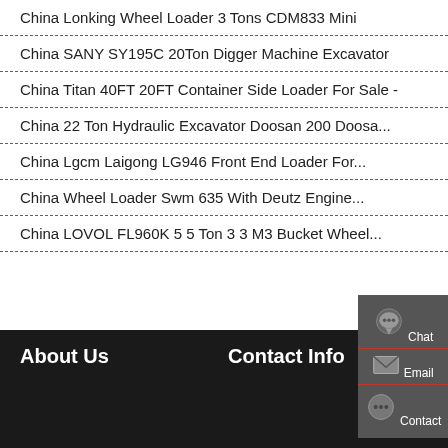China Lonking Wheel Loader 3 Tons CDM833 Mini
China SANY SY195C 20Ton Digger Machine Excavator
China Titan 40FT 20FT Container Side Loader For Sale -
China 22 Ton Hydraulic Excavator Doosan 200 Doosa...
China Lgcm Laigong LG946 Front End Loader For...
China Wheel Loader Swm 635 With Deutz Engine...
China LOVOL FL960K 5 5 Ton 3 3 M3 Bucket Wheel...
About Us
Contact Info